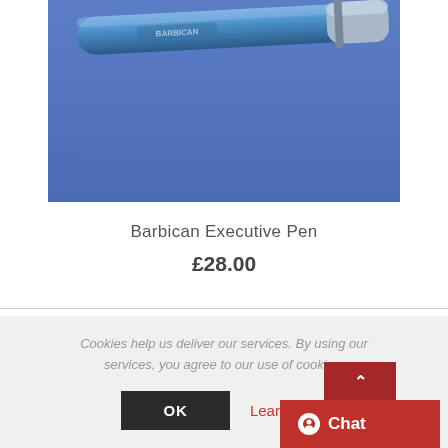[Figure (photo): Close-up photo of a Barbican Executive Pen (metallic blue/silver ballpoint pen) resting on a blue fabric surface]
Barbican Executive Pen
£28.00
Cookies help us deliver our services. By using our services, you agree to our use of cookies.
OK
Learn more
Chat